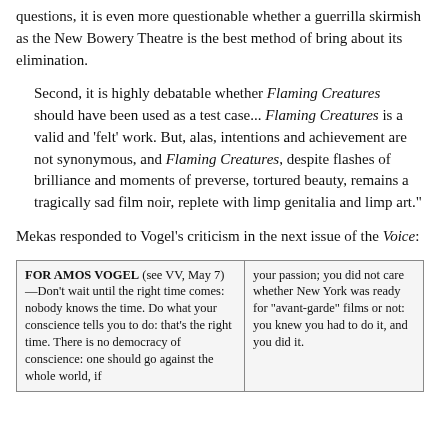questions, it is even more questionable whether a guerrilla skirmish as the New Bowery Theatre is the best method of bring about its elimination.
Second, it is highly debatable whether Flaming Creatures should have been used as a test case... Flaming Creatures is a valid and 'felt' work. But, alas, intentions and achievement are not synonymous, and Flaming Creatures, despite flashes of brilliance and moments of preverse, tortured beauty, remains a tragically sad film noir, replete with limp genitalia and limp art."
Mekas responded to Vogel's criticism in the next issue of the Voice:
[Figure (screenshot): Newspaper clipping with two columns. Left column: 'FOR AMOS VOGEL (see VV, May 7)—Don't wait until the right time comes: nobody knows the time. Do what your conscience tells you to do: that's the right time. There is no democracy of conscience: one should go against the whole world, if'. Right column: 'your passion; you did not care whether New York was ready for "avant-garde" films or not: you knew you had to do it, and you did it.']